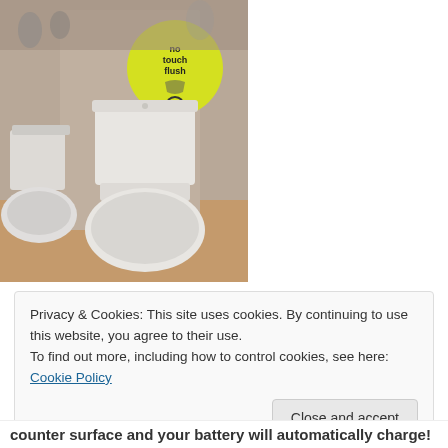[Figure (photo): Photo of a white toilet on display in what appears to a showroom. A yellow circular sign with 'no touch flush' text and a WiFi/sensor icon is visible near the top of the toilet tank. The toilet has an elongated bowl and the seat is closed.]
Privacy & Cookies: This site uses cookies. By continuing to use this website, you agree to their use.
To find out more, including how to control cookies, see here: Cookie Policy
Close and accept
counter surface and your battery will automatically charge!